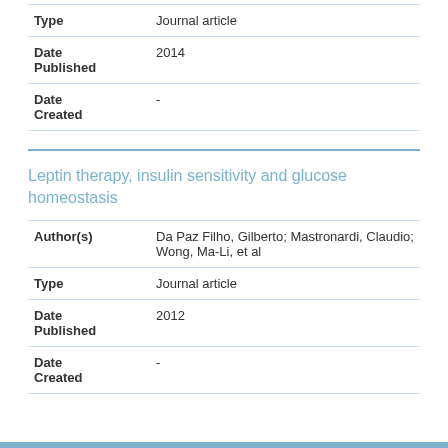| Field | Value |
| --- | --- |
| Type | Journal article |
| Date Published | 2014 |
| Date Created | - |
Leptin therapy, insulin sensitivity and glucose homeostasis
| Field | Value |
| --- | --- |
| Author(s) | Da Paz Filho, Gilberto; Mastronardi, Claudio; Wong, Ma-Li, et al |
| Type | Journal article |
| Date Published | 2012 |
| Date Created | - |